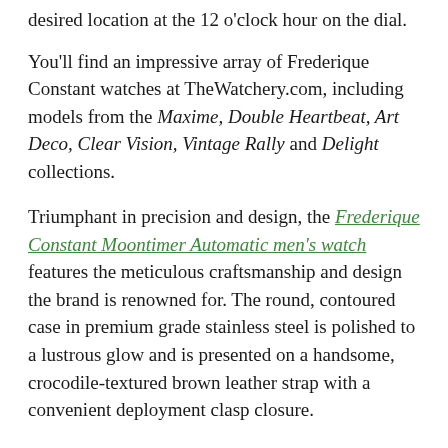desired location at the 12 o'clock hour on the dial.
You'll find an impressive array of Frederique Constant watches at TheWatchery.com, including models from the Maxime, Double Heartbeat, Art Deco, Clear Vision, Vintage Rally and Delight collections.
Triumphant in precision and design, the Frederique Constant Moontimer Automatic men's watch features the meticulous craftsmanship and design the brand is renowned for. The round, contoured case in premium grade stainless steel is polished to a lustrous glow and is presented on a handsome, crocodile-textured brown leather strap with a convenient deployment clasp closure.
The stationary bezel encircles the bright white dial with an open-heart and moon phase window, rose gold-tone sword hands and a black arrow date hand that works with conjunction with the date calendar on the outer dial.